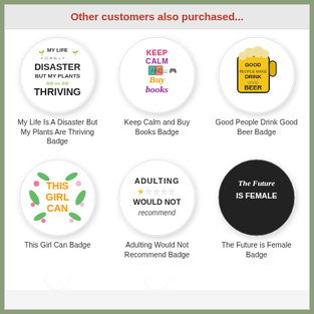Other customers also purchased...
[Figure (illustration): Round badge: My life is a disaster but my plants are thriving]
My Life Is A Disaster But My Plants Are Thriving Badge
[Figure (illustration): Round badge: Keep Calm and Buy books]
Keep Calm and Buy Books Badge
[Figure (illustration): Round badge: Good People Drink Good Beer]
Good People Drink Good Beer Badge
[Figure (illustration): Round badge: This Girl Can with floral decoration]
This Girl Can Badge
[Figure (illustration): Round badge: Adulting would not recommend with star rating]
Adulting Would Not Recommend Badge
[Figure (illustration): Round badge: The Future is Female in speech bubble]
The Future is Female Badge